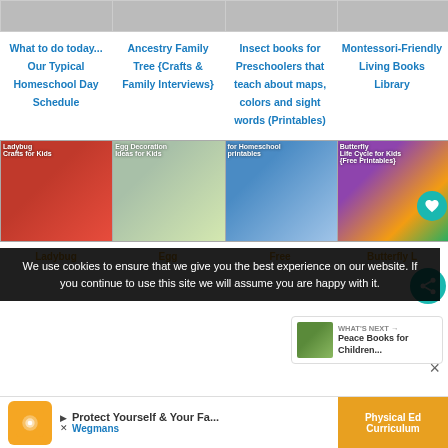[Figure (photo): Top row of four thumbnail images from a homeschool/education blog]
What to do today... Our Typical Homeschool Day Schedule
Ancestry Family Tree {Crafts & Family Interviews}
Insect books for Preschoolers that teach about maps, colors and sight words (Printables)
Montessori-Friendly Living Books Library
[Figure (photo): Second row of four thumbnail images: Ladybug crafts, Egg Decoration Ideas for Kids, Free Homeschool printables, Butterfly Life Cycle for Kids]
Ladybug
Egg
Free
Butterfly L
We use cookies to ensure that we give you the best experience on our website. If you continue to use this site we will assume you are happy with it.
WHAT'S NEXT → Peace Books for Children...
Protect Yourself & Your Fa... Wegmans
Physical Ed Curriculum